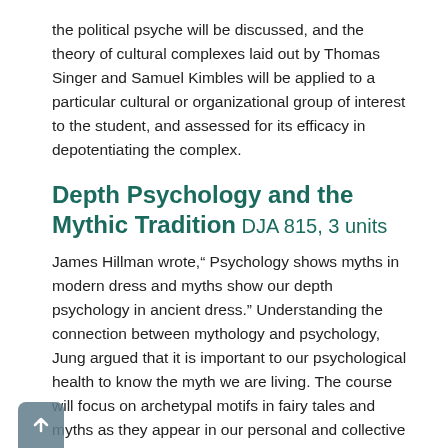the political psyche will be discussed, and the theory of cultural complexes laid out by Thomas Singer and Samuel Kimbles will be applied to a particular cultural or organizational group of interest to the student, and assessed for its efficacy in depotentiating the complex.
Depth Psychology and the Mythic Tradition DJA 815, 3 units
James Hillman wrote," Psychology shows myths in modern dress and myths show our depth psychology in ancient dress." Understanding the connection between mythology and psychology, Jung argued that it is important to our psychological health to know the myth we are living. The course will focus on archetypal motifs in fairy tales and myths as they appear in our personal and collective psychological lives. Students will study Jungian and post-Jungian mythological theory and interpretation; in addition, they will choose one author who has successfully brought the mythological psyche before the public eye, such as Joseph Campbell, Clarissa Pinkola